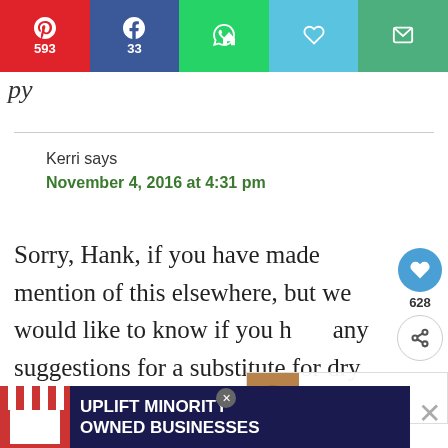[Figure (screenshot): Social share bar with Pinterest (593), Facebook (33), WhatsApp, heart/like, and email buttons]
py
Kerri says
November 4, 2016 at 4:31 pm
Sorry, Hank, if you have made mention of this elsewhere, but we would like to know if you have any suggestions for a substitute for dry milk, as we have a severe milk allergy in our ho... just butchered our first 100% pasture geese, and o...
[Figure (screenshot): Floating sidebar with heart button (628 likes) and share button]
[Figure (screenshot): What's Next widget showing Duck Rillette]
[Figure (screenshot): Advertisement banner: Uplift Minority Owned Businesses]